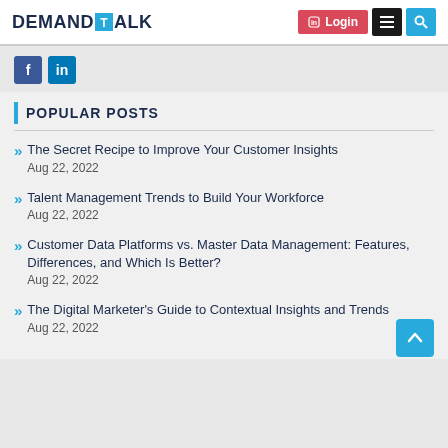DEMANDTALK — Login, Menu, Search
[Figure (logo): DemandTalk logo with LinkedIn login button, hamburger menu button, and search button]
[Figure (infographic): Social share icons: Facebook (f) and LinkedIn (in)]
POPULAR POSTS
The Secret Recipe to Improve Your Customer Insights
Aug 22, 2022
Talent Management Trends to Build Your Workforce
Aug 22, 2022
Customer Data Platforms vs. Master Data Management: Features, Differences, and Which Is Better?
Aug 22, 2022
The Digital Marketer's Guide to Contextual Insights and Trends
Aug 22, 2022